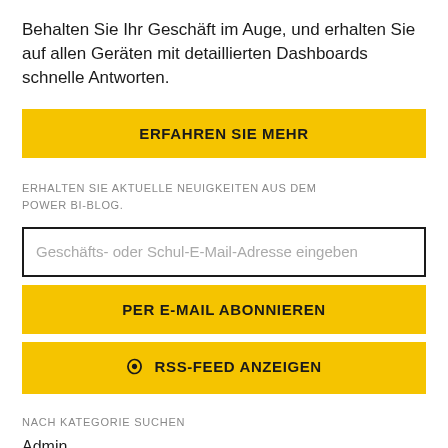Behalten Sie Ihr Geschäft im Auge, und erhalten Sie auf allen Geräten mit detaillierten Dashboards schnelle Antworten.
ERFAHREN SIE MEHR
ERHALTEN SIE AKTUELLE NEUIGKEITEN AUS DEM POWER BI-BLOG.
Geschäfts- oder Schul-E-Mail-Adresse eingeben
PER E-MAIL ABONNIEREN
RSS-FEED ANZEIGEN
NACH KATEGORIE SUCHEN
Admin